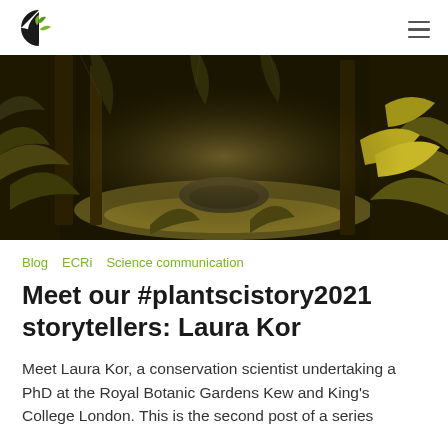Logo and navigation menu
[Figure (photo): A lush greenhouse or botanical garden interior filled with tropical ferns, palms, and dense green-golden foliage under a glass roof structure]
Blog
ECRi
Science communication
Meet our #plantscistory2021 storytellers: Laura Kor
Meet Laura Kor, a conservation scientist undertaking a PhD at the Royal Botanic Gardens Kew and King's College London. This is the second post of a series